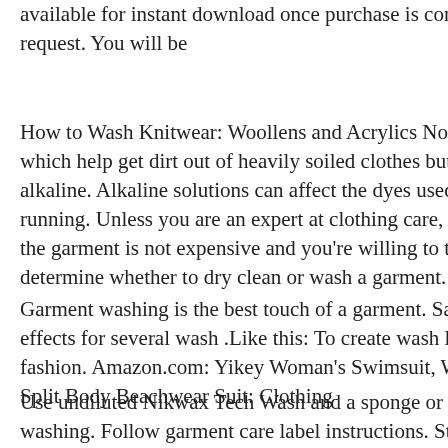available for instant download once purchase is confirmed. Can prov request. You will be
How to Wash Knitwear: Woollens and Acrylics Normal laundry dete which help get dirt out of heavily soiled clothes but at the same time, alkaline. Alkaline solutions can affect the dyes used in wool and can running. Unless you are an expert at clothing care, always believe the the garment is not expensive and you're willing to take a chance, foll determine whether to dry clean or wash a garment.
Garment washing is the best touch of a garment. Same type of garme effects for several wash .Like this: To create wash look appearance, s fashion. Amazon.com: Yikey Woman's Swimsuit, Women Serpentine Split Body Beachwear Suit: Clothing
Use undiluted Nikwax Tech Wash and a sponge or soft nylon brush t washing. Follow garment care label instructions. Step 2. Machine Wa garments in washing machine. Using cold water only, after the mach 150 ml for 1-3 garments, low water level. In case of denim washing, prodused such as, color fading with or without patchiness, seam puc